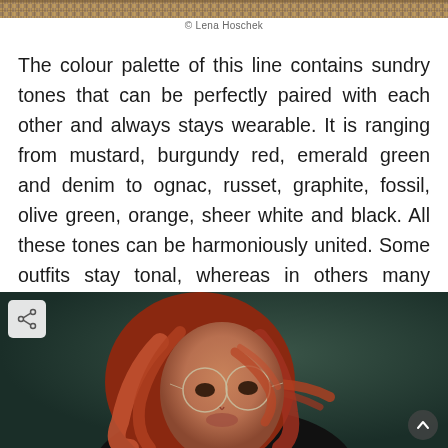[Figure (photo): Top portion of a fashion/textile photo showing a patterned fabric with earthy tones (brown, tan, ochre houndstooth or tweed pattern)]
© Lena Hoschek
The colour palette of this line contains sundry tones that can be perfectly paired with each other and always stays wearable. It is ranging from mustard, burgundy red, emerald green and denim to ognac, russet, graphite, fossil, olive green, orange, sheer white and black. All these tones can be harmoniously united. Some outfits stay tonal, whereas in others many nuances are used.
[Figure (photo): Fashion photo of a woman with auburn/red hair and round glasses, wearing dark clothing, shot against a dark green background. A share icon button is visible in the top-left corner of the image, and an up-arrow button in the bottom-right.]